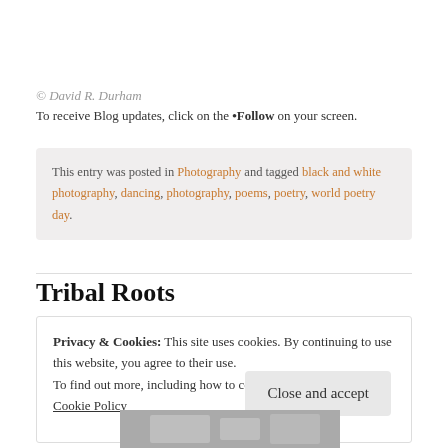© David R. Durham
To receive Blog updates, click on the •Follow on your screen.
This entry was posted in Photography and tagged black and white photography, dancing, photography, poems, poetry, world poetry day.
Tribal Roots
Privacy & Cookies: This site uses cookies. By continuing to use this website, you agree to their use.
To find out more, including how to control cookies, see here: Cookie Policy
Close and accept
[Figure (photo): Black and white photo strip visible at the bottom of the page]